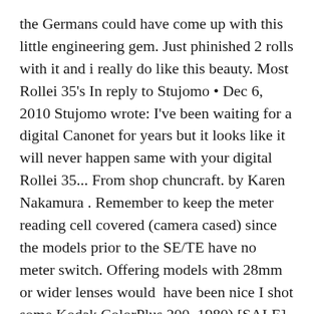the Germans could have come up with this little engineering gem. Just phinished 2 rolls with it and i really do like this beauty. Most Rollei 35's In reply to Stujomo • Dec 6, 2010 Stujomo wrote: I've been waiting for a digital Canonet for years but it looks like it will never happen same with your digital Rollei 35... From shop chuncraft. by Karen Nakamura . Remember to keep the meter reading cell covered (camera cased) since the models prior to the SE/TE have no meter switch. Offering models with 28mm or wider lenses would  have been nice I shot some Kodak ColorPlus 200. 1980) [SALE] □□□□□ □□□□□ Rollei 35 SE (□□. The Contax has superb automation, but it is also its weakness, one day it will no longer work, like all electronic PS (Contax T2 / T3, Nikon TI 35/28,...), despite their performance being exceptional, but they need electronics !!! With its rounded corners, the Minox is even more “pocketable” than the Rollei and considerably